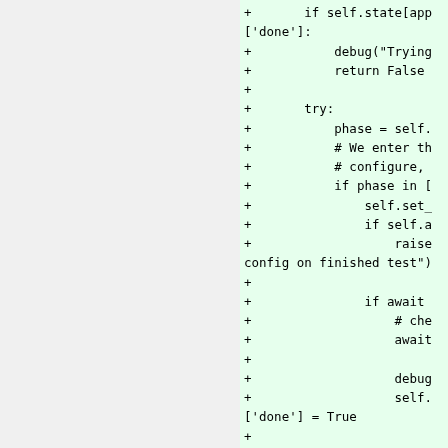[Figure (screenshot): Code diff view showing Python code additions (green background). Lines show: if self.state[app['done']:, debug('Trying, return False, try:, phase = self., # We enter th, # configure,, if phase in [, self.set_, if self.a, raise config on finished test'), blank, if await, # che, await, blank, debug, self.['done'] = True, blank, except Exception, debug('Except]